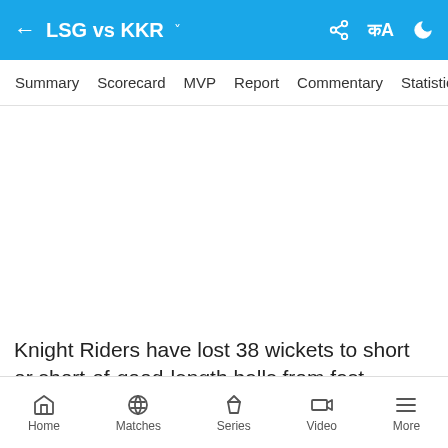LSG vs KKR
Summary  Scorecard  MVP  Report  Commentary  Statistics
Knight Riders have lost 38 wickets to short or short-of-good-length balls from fast bowlers, the most by any
Home  Matches  Series  Video  More